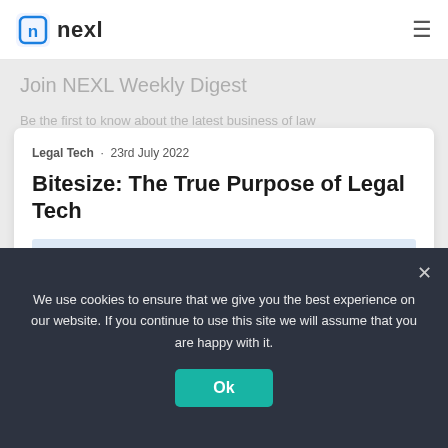nexl
Join NEXL Weekly Digest
Be the first to know about the latest business of law
Legal Tech · 23rd July 2022
Bitesize: The True Purpose of Legal Tech
Moment of truth. Legal Tech is not and should not be all about lawyers. Colin Levy uncovers the true purpose of Legal Tech in this article.
We use cookies to ensure that we give you the best experience on our website. If you continue to use this site we will assume that you are happy with it.